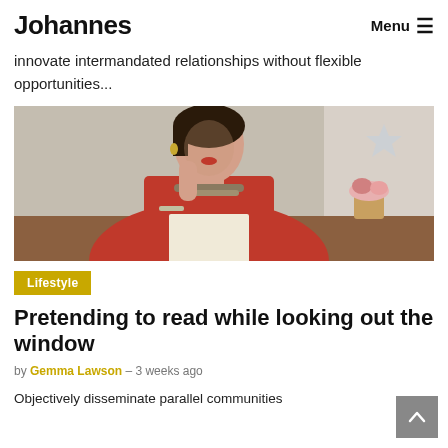Johannes   Menu ≡
innovate intermandated relationships without flexible opportunities...
[Figure (photo): Woman in red blouse with necklace, sitting at a table, resting chin on hand, appearing to read]
Lifestyle
Pretending to read while looking out the window
by Gemma Lawson – 3 weeks ago
Objectively disseminate parallel communities